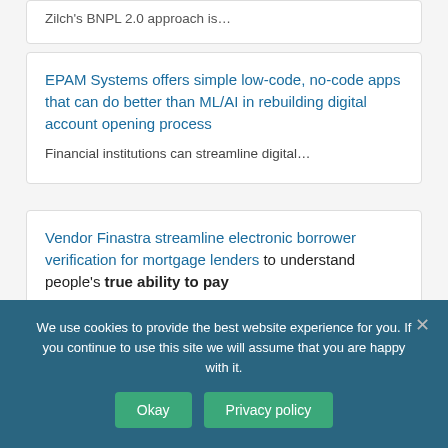Zilch's BNPL 2.0 approach is…
EPAM Systems offers simple low-code, no-code apps that can do better than ML/AI in rebuilding digital account opening process
Financial institutions can streamline digital…
Vendor Finastra streamline electronic borrower verification for mortgage lenders to understand people's true ability to pay
Finastra and FormFree, a FinTech…
We use cookies to provide the best website experience for you. If you continue to use this site we will assume that you are happy with it.